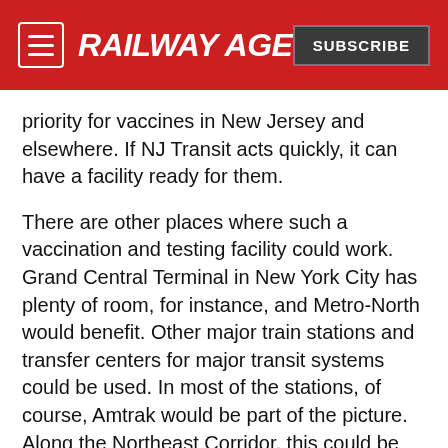RAILWAY AGE | SUBSCRIBE
priority for vaccines in New Jersey and elsewhere. If NJ Transit acts quickly, it can have a facility ready for them.
There are other places where such a vaccination and testing facility could work. Grand Central Terminal in New York City has plenty of room, for instance, and Metro-North would benefit. Other major train stations and transfer centers for major transit systems could be used. In most of the stations, of course, Amtrak would be part of the picture. Along the Northeast Corridor, this could be done at Union Station in Washington, D.C.; Penn Station in Baltimore; 30th Street Station in Philadelphia; and maybe even the stations in Wilmington, Del., and